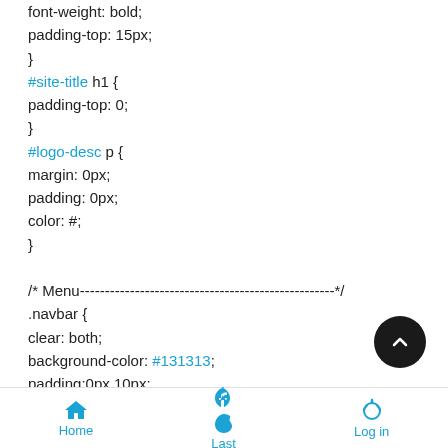font-weight: bold;
padding-top: 15px;
}
#site-title h1 {
padding-top: 0;
}
#logo-desc p {
margin: 0px;
padding: 0px;
color: #;
}

/* Menu---------------------------------------------------*/
.navbar {
clear: both;
background-color: #131313;
padding:0px 10px;
background-image:
url('https://i.srv/img.com/u/f30/14/70/09/25/gradie12.png') ;
Home   Last   Log in